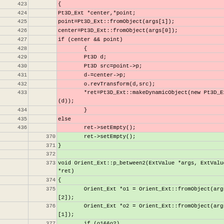[Figure (screenshot): Source code diff view showing two columns of line numbers and code content. Red-highlighted rows (lines 423-436) show deleted/old code, green-highlighted rows (lines 370-381) show added/new code. Code is C++ for 3D point and orientation extension methods.]